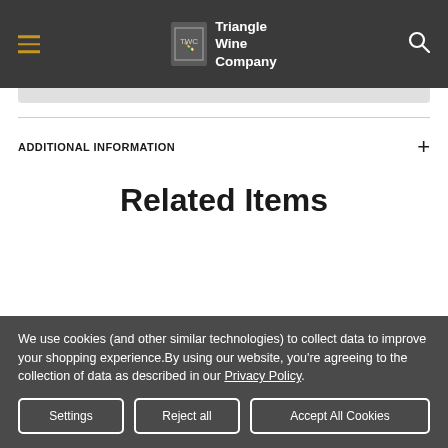Triangle Wine Company
ADDITIONAL INFORMATION
Related Items
We use cookies (and other similar technologies) to collect data to improve your shopping experience.By using our website, you're agreeing to the collection of data as described in our Privacy Policy.